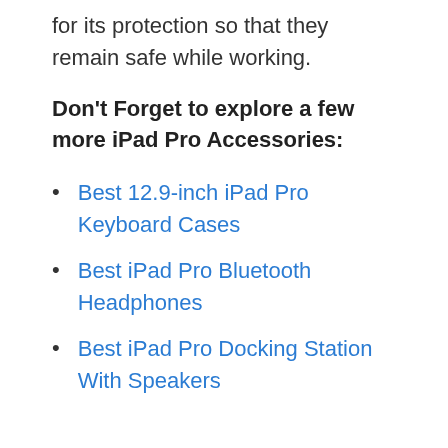for its protection so that they remain safe while working.
Don't Forget to explore a few more iPad Pro Accessories:
Best 12.9-inch iPad Pro Keyboard Cases
Best iPad Pro Bluetooth Headphones
Best iPad Pro Docking Station With Speakers